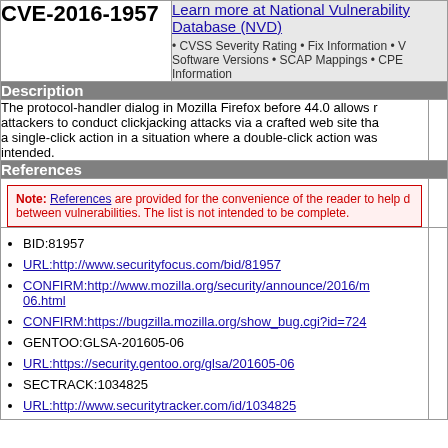CVE-2016-1957
Learn more at National Vulnerability Database (NVD) • CVSS Severity Rating • Fix Information • V Software Versions • SCAP Mappings • CPE Information
Description
The protocol-handler dialog in Mozilla Firefox before 44.0 allows remote attackers to conduct clickjacking attacks via a crafted web site that triggers a single-click action in a situation where a double-click action was intended.
References
Note: References are provided for the convenience of the reader to help distinguish between vulnerabilities. The list is not intended to be complete.
BID:81957
URL:http://www.securityfocus.com/bid/81957
CONFIRM:http://www.mozilla.org/security/announce/2016/m...06.html
CONFIRM:https://bugzilla.mozilla.org/show_bug.cgi?id=724...
GENTOO:GLSA-201605-06
URL:https://security.gentoo.org/glsa/201605-06
SECTRACK:1034825
URL:http://www.securitytracker.com/id/1034825